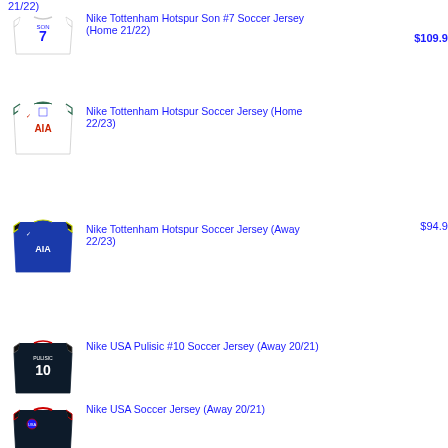21/22)
[Figure (photo): Nike Tottenham Hotspur Son #7 white soccer jersey]
Nike Tottenham Hotspur Son #7 Soccer Jersey (Home 21/22) $109.95
[Figure (photo): Nike Tottenham Hotspur white home soccer jersey with AIA logo]
Nike Tottenham Hotspur Soccer Jersey (Home 22/23) $94.95
[Figure (photo): Nike Tottenham Hotspur blue away soccer jersey with AIA logo]
Nike Tottenham Hotspur Soccer Jersey (Away 22/23) $94.95
[Figure (photo): Nike USA Pulisic #10 dark away soccer jersey]
Nike USA Pulisic #10 Soccer Jersey (Away 20/21) $109.95
[Figure (photo): Nike USA dark away soccer jersey with red and blue accents]
Nike USA Soccer Jersey (Away 20/21) $89.95